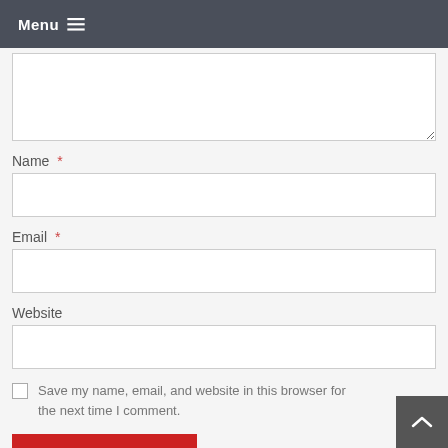Menu ≡
(comment textarea)
Name *
Email *
Website
Save my name, email, and website in this browser for the next time I comment.